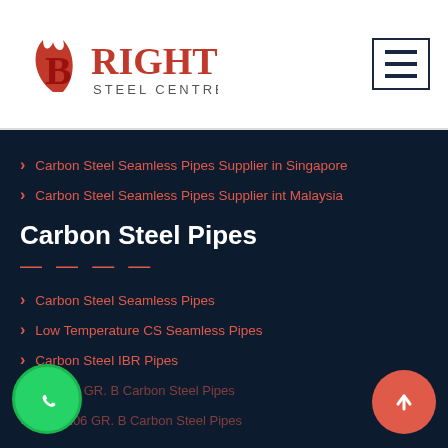[Figure (logo): Bright Steel Centre logo in red with decorative B letter and flame, with 'STEEL CENTRE' text below BRIGHT]
Carbon Steel Seamless Pipes Supplier in Singapore
Carbon Steel Seamless Pipes Supplier int Malaysia
Carbon Steel Pipes
Carbon Steel Seamless Pipes
Low Temperature CS Seamless Pipes
Carbon Steel IBR Pipes
ASTM A53 GR. B Carbon Steel Pipes
ASTM A106 GR. B Carbon Steel Pipes